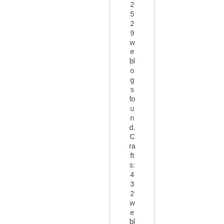2529weblogs found. Crafts: 432 weblogs found